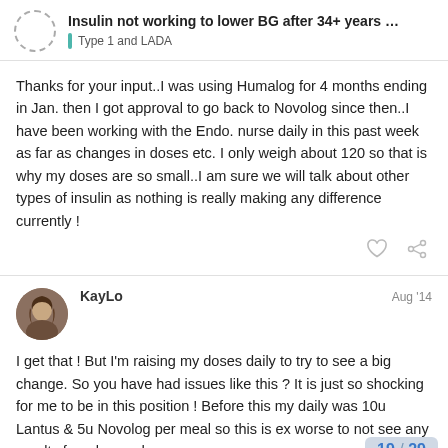Insulin not working to lower BG after 34+ years … | Type 1 and LADA
Thanks for your input..I was using Humalog for 4 months ending in Jan. then I got approval to go back to Novolog since then..I have been working with the Endo. nurse daily in this past week as far as changes in doses etc. I only weigh about 120 so that is why my doses are so small..I am sure we will talk about other types of insulin as nothing is really making any difference currently !
KayLo — Aug '14
I get that ! But I'm raising my doses daily to try to see a big change. So you have had issues like this ? It is just so shocking for me to be in this position ! Before this my daily was 10u Lantus & 5u Novolog per meal so this is ex worse to not see any results from larger do
19 / 29